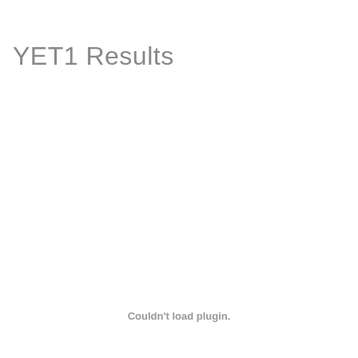YET1 Results
Couldn't load plugin.